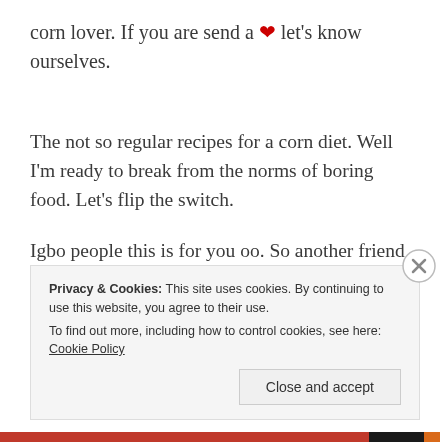corn lover. If you are send a ❤ let's know ourselves.
The not so regular recipes for a corn diet. Well I'm ready to break from the norms of boring food. Let's flip the switch.
Igbo people this is for you oo. So another friend of mine read the last post and guess what he said.
Privacy & Cookies: This site uses cookies. By continuing to use this website, you agree to their use.
To find out more, including how to control cookies, see here: Cookie Policy
Close and accept